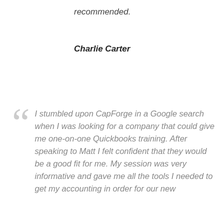recommended.
Charlie Carter
I stumbled upon CapForge in a Google search when I was looking for a company that could give me one-on-one Quickbooks training. After speaking to Matt I felt confident that they would be a good fit for me. My session was very informative and gave me all the tools I needed to get my accounting in order for our new